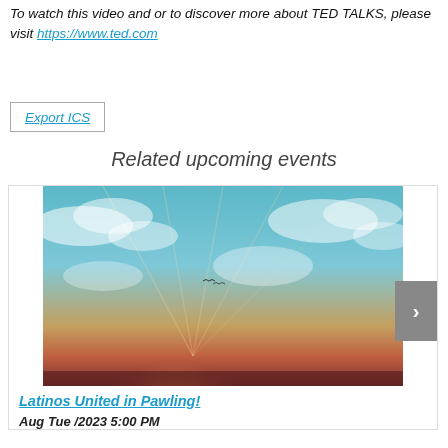To watch this video and or to discover more about TED TALKS, please visit https://www.ted.com
Export ICS
Related upcoming events
[Figure (photo): A dramatic sunset sky with colorful clouds illuminated in pink, orange, and gold tones against a blue sky with rays of light breaking through.]
Latinos United in Pawling!
Aug Tue /2023 5:00 PM